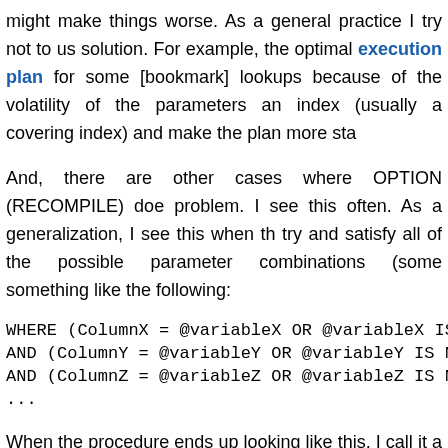might make things worse. As a general practice I try not to us solution. For example, the optimal execution plan for some [bookmark] lookups because of the volatility of the parameters an index (usually a covering index) and make the plan more sta
And, there are other cases where OPTION (RECOMPILE) doe problem. I see this often. As a generalization, I see this when th try and satisfy all of the possible parameter combinations (some something like the following:
WHERE (ColumnX = @variableX OR @variableX IS NULL)
AND (ColumnY = @variableY OR @variableY IS NULL)
AND (ColumnZ = @variableZ OR @variableZ IS NULL)
...
When the procedure ends up looking like this, I call it a mu